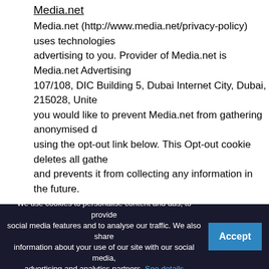Media.net
Media.net (http://www.media.net/privacy-policy) uses technologies advertising to you. Provider of Media.net is Media.net Advertising 107/108, DIC Building 5, Dubai Internet City, Dubai, 215028, Unite you would like to prevent Media.net from gathering anonymised d using the opt-out link below. This Opt-out cookie deletes all gathe and prevents it from collecting any information in the future.
Privacy policy: http://www.media.net/privacy-policy
Opt-out: http://www.networkadvertising.org/choices/
Oath
Oath (https://www.oath.com/) uses technologies, to show interes you. Provider of Oath is Oath (EMEA) Limited located in Dublin – 5 Wall Quay. In case you would like to prevent Oath from gathering
We use cookies to personalise content and ads, to provide social media features and to analyse our traffic. We also share information about your use of our site with our social media, advertising and analytics partners. See details